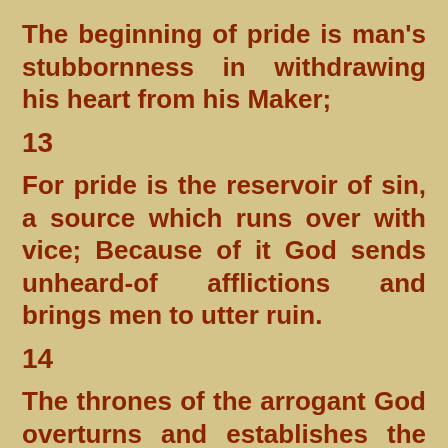The beginning of pride is man's stubbornness in withdrawing his heart from his Maker;
13
For pride is the reservoir of sin, a source which runs over with vice; Because of it God sends unheard-of afflictions and brings men to utter ruin.
14
The thrones of the arrogant God overturns and establishes the lowly